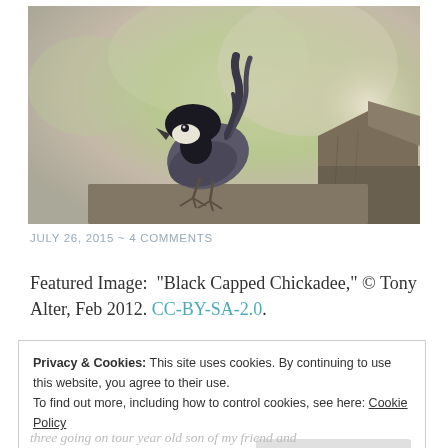[Figure (photo): A Black Capped Chickadee bird perched on a wooden fence post, photographed against a soft blurred green and beige background. The bird has a distinctive black cap and bib with white cheeks.]
JULY 26, 2015 ~ 4 COMMENTS
Featured Image: "Black Capped Chickadee," © Tony Alter, Feb 2012. CC-BY-SA-2.0.
Privacy & Cookies: This site uses cookies. By continuing to use this website, you agree to their use. To find out more, including how to control cookies, see here: Cookie Policy
Close and accept
three going on tour year old son of my friend and